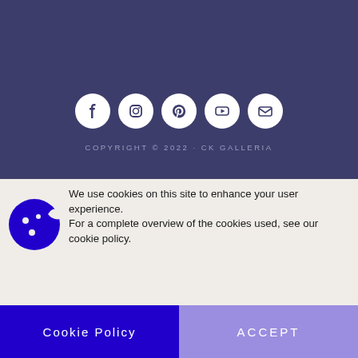[Figure (illustration): Website footer with dark blue/purple background showing five social media icons (Facebook, Instagram, Pinterest, YouTube, Email/X) as white circles with purple icons, and copyright text below]
COPYRIGHT © 2022 · CK GALLERIA
We use cookies on this site to enhance your user experience.
For a complete overview of the cookies used, see our cookie policy.
Cookie Policy
ACCEPT